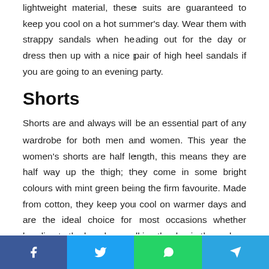lightweight material, these suits are guaranteed to keep you cool on a hot summer's day. Wear them with strappy sandals when heading out for the day or dress then up with a nice pair of high heel sandals if you are going to an evening party.
Shorts
Shorts are and always will be an essential part of any wardrobe for both men and women. This year the women's shorts are half length, this means they are half way up the thigh; they come in some bright colours with mint green being the firm favourite. Made from cotton, they keep you cool on warmer days and are the ideal choice for most occasions whether heading to the beach or walking the dog in the park.